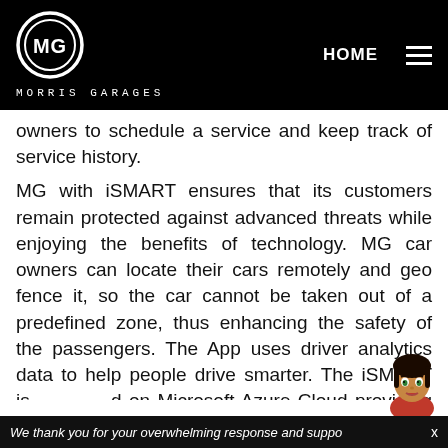[Figure (logo): MG Morris Garages logo with circular MG badge and navigation bar showing HOME and hamburger menu on black background]
owners to schedule a service and keep track of service history.
MG with iSMART ensures that its customers remain protected against advanced threats while enjoying the benefits of technology. MG car owners can locate their cars remotely and geo fence it, so the car cannot be taken out of a predefined zone, thus enhancing the safety of the passengers. The App uses driver analytics data to help people drive smarter. The iSMART is based on Microsoft Azure Cloud providing improved cyber security for all data.
We thank you for your overwhelming response and support  x